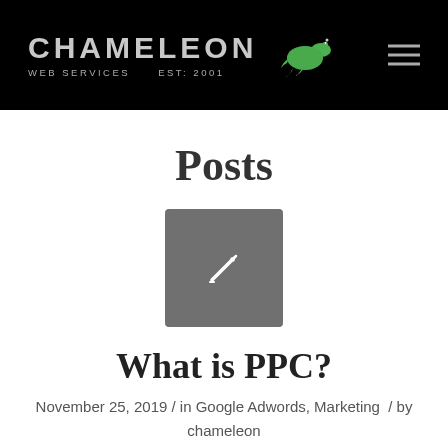[Figure (logo): Chameleon Web Services logo with green chameleon graphic on black background, EST: 2001 text]
Posts
[Figure (illustration): Gray rounded square with white pencil/edit icon in center]
What is PPC?
November 25, 2019 / in Google Adwords, Marketing / by chameleon
[Figure (screenshot): Google search bar with query 'alloy wheel repairs for free']